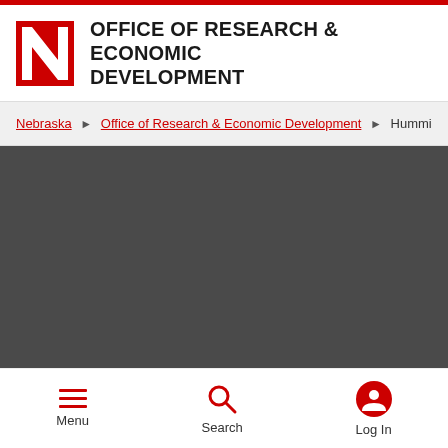OFFICE OF RESEARCH & ECONOMIC DEVELOPMENT
Nebraska › Office of Research & Economic Development › Hummingbirds evolv...
[Figure (photo): Dark background image area, appears to be a cropped photo with dark tones, likely related to the article about hummingbirds]
Menu  Search  Log In